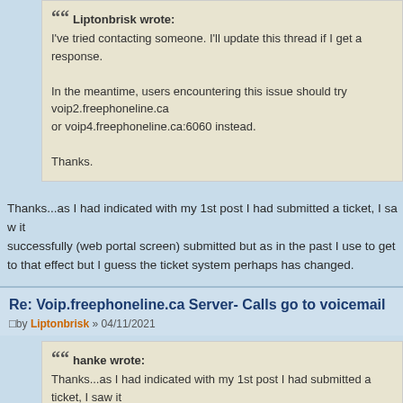Liptonbrisk wrote: I've tried contacting someone. I'll update this thread if I get a response. In the meantime, users encountering this issue should try voip2.freephoneline.ca or voip4.freephoneline.ca:6060 instead. Thanks.
Thanks...as I had indicated with my 1st post I had submitted a ticket, I saw it successfully (web portal screen) submitted but as in the past I use to get an email to that effect but I guess the ticket system perhaps has changed.
Re: Voip.freephoneline.ca Server- Calls go to voicemail
by Liptonbrisk » 04/11/2021
hanke wrote: Thanks...as I had indicated with my 1st post I had submitted a ticket, I saw it successfully (web portal screen) submitted but as in the past I use to get an email to that effect but I guess the ticket system perhaps has changed.
I'm reaching out in a different manner. Anyway, I'll update the thread if I h...